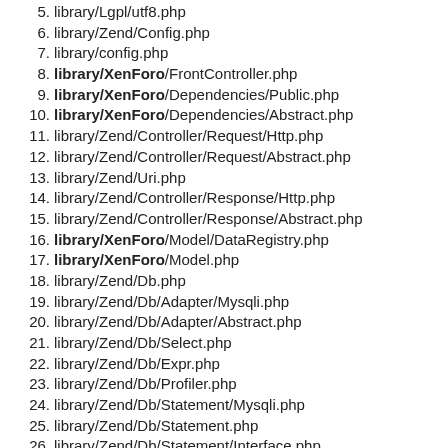5. library/Lgpl/utf8.php
6. library/Zend/Config.php
7. library/config.php
8. library/XenForo/FrontController.php
9. library/XenForo/Dependencies/Public.php
10. library/XenForo/Dependencies/Abstract.php
11. library/Zend/Controller/Request/Http.php
12. library/Zend/Controller/Request/Abstract.php
13. library/Zend/Uri.php
14. library/Zend/Controller/Response/Http.php
15. library/Zend/Controller/Response/Abstract.php
16. library/XenForo/Model/DataRegistry.php
17. library/XenForo/Model.php
18. library/Zend/Db.php
19. library/Zend/Db/Adapter/Mysqli.php
20. library/Zend/Db/Adapter/Abstract.php
21. library/Zend/Db/Select.php
22. library/Zend/Db/Expr.php
23. library/Zend/Db/Profiler.php
24. library/Zend/Db/Statement/Mysqli.php
25. library/Zend/Db/Statement.php
26. library/Zend/Db/Statement/Interface.php
27. library/Zend/Db/Profiler/Query.php
28. library/XenForo/CodeEvent.php
29. library/XenForo/Options.php